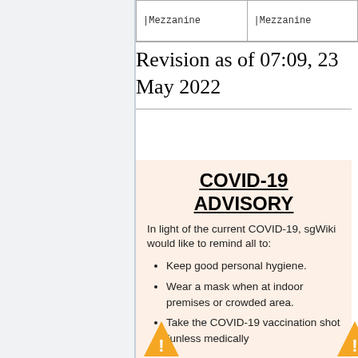| |Mezzanine | |Mezzanine |
| --- | --- |
Revision as of 07:09, 23 May 2022
COVID-19 ADVISORY
In light of the current COVID-19, sgWiki would like to remind all to:
Keep good personal hygiene.
Wear a mask when at indoor premises or crowded area.
Take the COVID-19 vaccination shot (unless medically